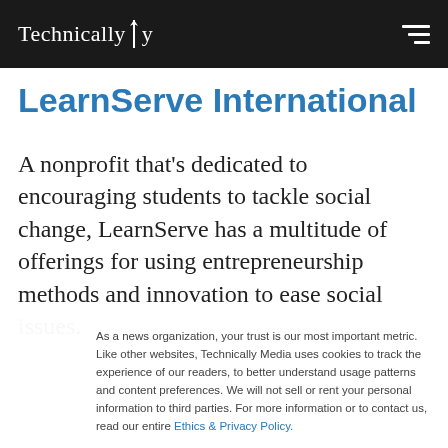Technically
LearnServe International
A nonprofit that's dedicated to encouraging students to tackle social change, LearnServe has a multitude of offerings for using entrepreneurship methods and innovation to ease social issues.
As a news organization, your trust is our most important metric. Like other websites, Technically Media uses cookies to track the experience of our readers, to better understand usage patterns and content preferences. We will not sell or rent your personal information to third parties. For more information or to contact us, read our entire Ethics & Privacy Policy.
Close